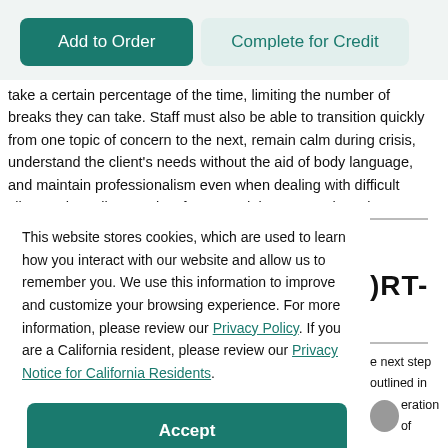[Figure (screenshot): Two buttons: 'Add to Order' (dark teal, filled) and 'Complete for Credit' (light teal, ghost style)]
take a certain percentage of the time, limiting the number of breaks they can take. Staff must also be able to transition quickly from one topic of concern to the next, remain calm during crisis, understand the client's needs without the aid of body language, and maintain professionalism even when dealing with difficult clients. The call center is a fast-paced, intense work environment.
This website stores cookies, which are used to learn how you interact with our website and allow us to remember you. We use this information to improve and customize your browsing experience. For more information, please review our Privacy Policy. If you are a California resident, please review our Privacy Notice for California Residents.
[Figure (screenshot): Accept button in dark teal]